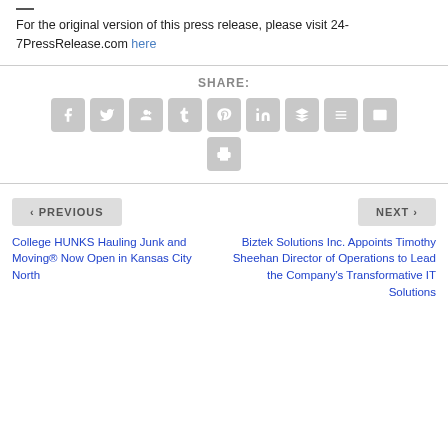For the original version of this press release, please visit 24-7PressRelease.com here
[Figure (infographic): Social share buttons row: Facebook, Twitter, Google+, Tumblr, Pinterest, LinkedIn, Buffer, StumbleUpon, Email, and a Print button below]
< PREVIOUS
NEXT >
College HUNKS Hauling Junk and Moving® Now Open in Kansas City North
Biztek Solutions Inc. Appoints Timothy Sheehan Director of Operations to Lead the Company's Transformative IT Solutions